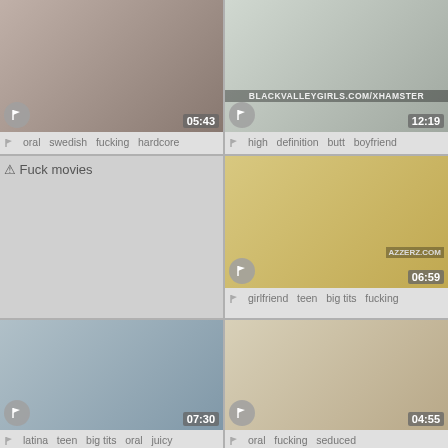[Figure (screenshot): Video thumbnail 1 - duration 05:43, tags: oral swedish fucking hardcore]
[Figure (screenshot): Video thumbnail 2 - duration 12:19, watermark BLACKVALLEYGIRLS.COM/XHAMSTER, tags: high definition butt boyfriend]
[Figure (screenshot): Broken image placeholder 'Fuck movies']
[Figure (screenshot): Video thumbnail 4 - duration 06:59, watermark AZZERZ.COM, tags: girlfriend teen big tits fucking]
[Figure (screenshot): Video thumbnail 5 - duration 07:30, tags: latina teen big tits oral juicy]
[Figure (screenshot): Video thumbnail 6 - duration 04:55, tags: oral fucking seduced]